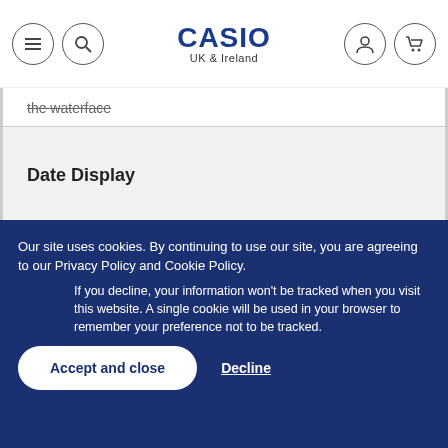CASIO UK & Ireland
the waterface
Date Display
Our site uses cookies. By continuing to use our site, you are agreeing to our Privacy Policy and Cookie Policy.
If you decline, your information won't be tracked when you visit this website. A single cookie will be used in your browser to remember your preference not to be tracked.
Accept and close
Decline